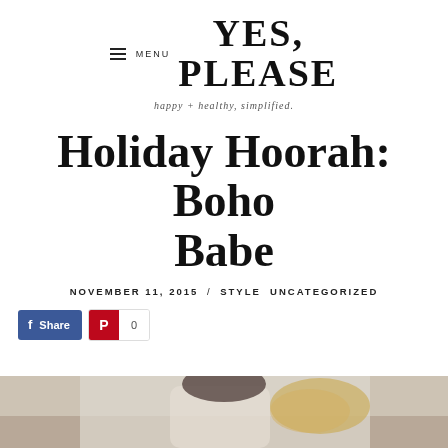YES, PLEASE — happy + healthy, simplified.
Holiday Hoorah: Boho Babe
NOVEMBER 11, 2015 / STYLE UNCATEGORIZED
Share  0
[Figure (photo): Bottom portion of a lifestyle photo, partially cropped, showing a person in boho style clothing]